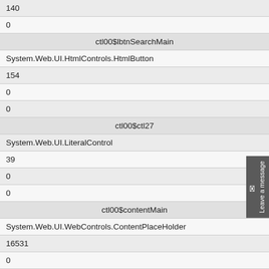| 140 |
| 0 |
| ctl00$lbtnSearchMain |
| System.Web.UI.HtmlControls.HtmlButton |
| 154 |
| 0 |
| 0 |
| ctl00$ctl27 |
| System.Web.UI.LiteralControl |
| 39 |
| 0 |
| 0 |
| ctl00$contentMain |
| System.Web.UI.WebControls.ContentPlaceHolder |
| 16531 |
| 0 |